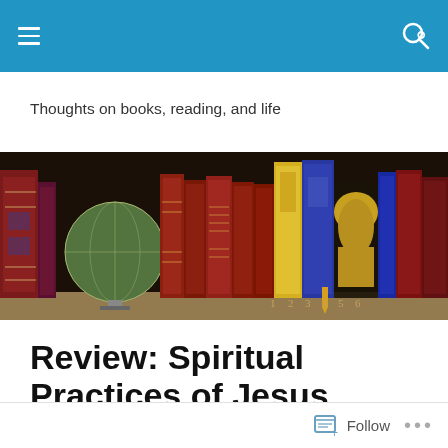Navigation bar with menu and search icons
Thoughts on books, reading, and life
[Figure (illustration): Colorful illustrated banner showing a row of decorative books on a shelf with a globe, against a dark background. Numbered volumes 1-6 are visible in the center.]
Review: Spiritual Practices of Jesus
Follow  ...